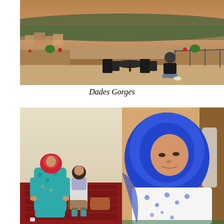[Figure (photo): A person sitting alone at a table on a rooftop terrace overlooking Dades Gorges landscape at dusk, with terracotta buildings and green valley in the background. Black outdoor furniture visible.]
Dades Gorges
[Figure (photo): Two-panel photo: Left side shows a Moroccan woman in red hijab and teal floral dress sitting on a red carpet with a young girl; Right side shows a young woman in blue hijab and white floral top looking down.]